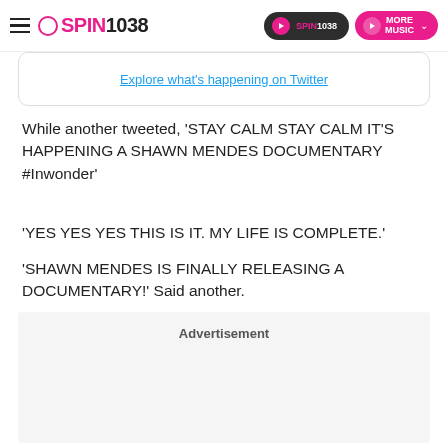SPIN1038
[Figure (screenshot): Explore what's happening on Twitter - embedded Twitter widget link]
While another tweeted, 'STAY CALM STAY CALM IT'S HAPPENING A SHAWN MENDES DOCUMENTARY #Inwonder'
'YES YES YES THIS IS IT. MY LIFE IS COMPLETE.'
'SHAWN MENDES IS FINALLY RELEASING A DOCUMENTARY!' Said another.
Advertisement